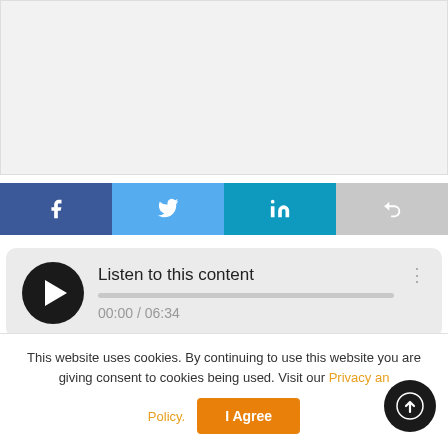[Figure (screenshot): Gray placeholder box representing an image or video content area]
[Figure (infographic): Social share buttons row: Facebook (dark blue), Twitter (light blue), LinkedIn (teal), Share/reply (gray)]
[Figure (screenshot): Audio player widget with play button, title 'Listen to this content', progress bar, and time display '00:00 / 06:34']
This website uses cookies. By continuing to use this website you are giving consent to cookies being used. Visit our Privacy and Cookie Policy.
[Figure (other): Orange 'I Agree' button and dark circular scroll-to-top arrow button]